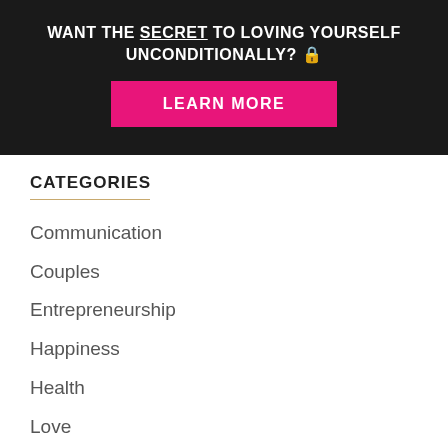WANT THE SECRET TO LOVING YOURSELF UNCONDITIONALLY? 🔒
LEARN MORE
CATEGORIES
Communication
Couples
Entrepreneurship
Happiness
Health
Love
Marriage
Money